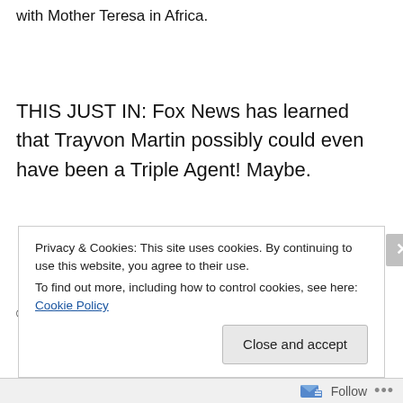with Mother Teresa in Africa.
THIS JUST IN: Fox News has learned that Trayvon Martin possibly could even have been a Triple Agent! Maybe.
© tony powers and Barking in the Dark, 2012|
Privacy & Cookies: This site uses cookies. By continuing to use this website, you agree to their use.
To find out more, including how to control cookies, see here: Cookie Policy
Close and accept
Follow